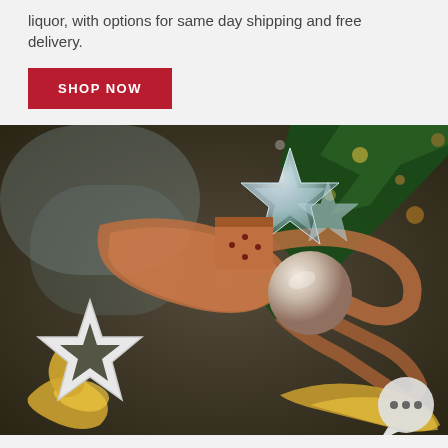liquor, with options for same day shipping and free delivery.
SHOP NOW
[Figure (photo): Christmas holiday flatlay photograph showing decorative star ornaments (crystal and white ceramic), copper and gold ribbons, a small gift box, a ball ornament, and pine tree branches on a dark textured background. A chat bubble icon with three dots is visible in the bottom right corner.]